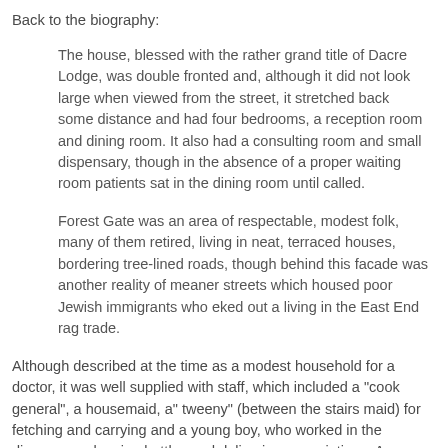Back to the biography:
The house, blessed with the rather grand title of Dacre Lodge, was double fronted and, although it did not look large when viewed from the street, it stretched back some distance and had four bedrooms, a reception room and dining room. It also had a consulting room and small dispensary, though in the absence of a proper waiting room patients sat in the dining room until called.
Forest Gate was an area of respectable, modest folk, many of them retired, living in neat, terraced houses, bordering tree-lined roads, though behind this facade was another reality of meaner streets which housed poor Jewish immigrants who eked out a living in the East End rag trade.
Although described at the time as a modest household for a doctor, it was well supplied with staff, which included a "cook general", a housemaid, a" tweeny" (between the stairs maid) for fetching and carrying and a young boy, who worked in the dispensary cleaning bottles and delivering prescriptions. As